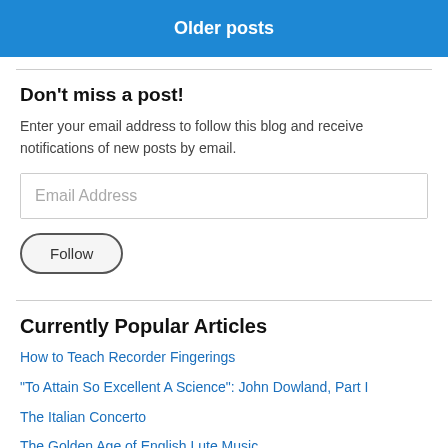Older posts
Don't miss a post!
Enter your email address to follow this blog and receive notifications of new posts by email.
Email Address
Follow
Currently Popular Articles
How to Teach Recorder Fingerings
"To Attain So Excellent A Science": John Dowland, Part I
The Italian Concerto
The Golden Age of English Lute Music